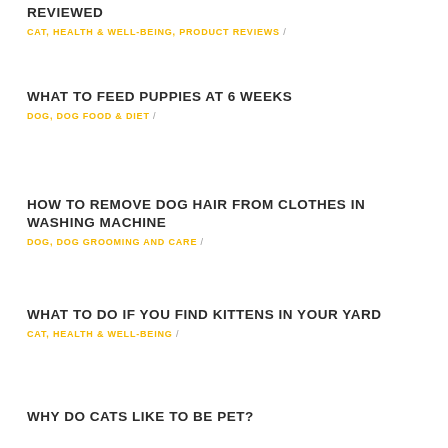REVIEWED
CAT, HEALTH & WELL-BEING, PRODUCT REVIEWS /
WHAT TO FEED PUPPIES AT 6 WEEKS
DOG, DOG FOOD & DIET /
HOW TO REMOVE DOG HAIR FROM CLOTHES IN WASHING MACHINE
DOG, DOG GROOMING AND CARE /
WHAT TO DO IF YOU FIND KITTENS IN YOUR YARD
CAT, HEALTH & WELL-BEING /
WHY DO CATS LIKE TO BE PET?